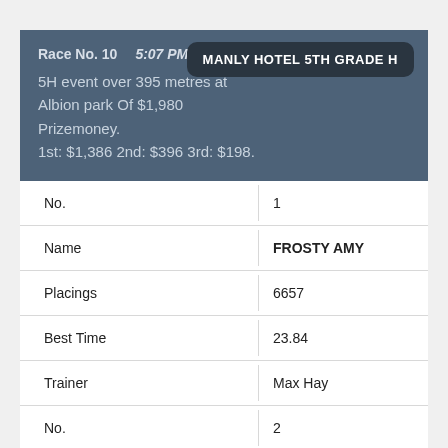Race No. 10   5:07 PM
5H event over 395 metres at Albion park Of $1,980 Prizemoney.
1st: $1,386 2nd: $396 3rd: $198.
MANLY HOTEL 5TH GRADE H
| Field | Value |
| --- | --- |
| No. | 1 |
| Name | FROSTY AMY |
| Placings | 6657 |
| Best Time | 23.84 |
| Trainer | Max Hay |
| No. | 2 |
| Name | HARA'S HEAT |
| Placings | 7484 |
| Best Time | 23.46 |
| Trainer | Darren Titmarsh |